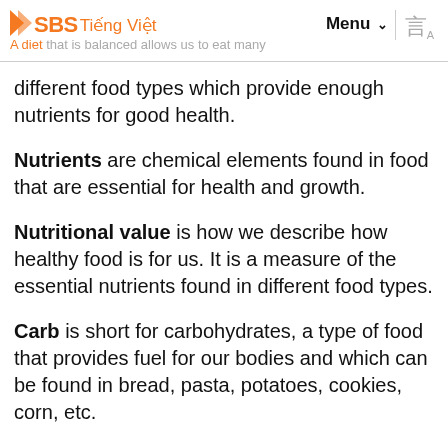SBS Tiếng Việt | Menu | A diet that is balanced allows us to eat many
different food types which provide enough nutrients for good health.
Nutrients are chemical elements found in food that are essential for health and growth.
Nutritional value is how we describe how healthy food is for us. It is a measure of the essential nutrients found in different food types.
Carb is short for carbohydrates, a type of food that provides fuel for our bodies and which can be found in bread, pasta, potatoes, cookies, corn, etc.